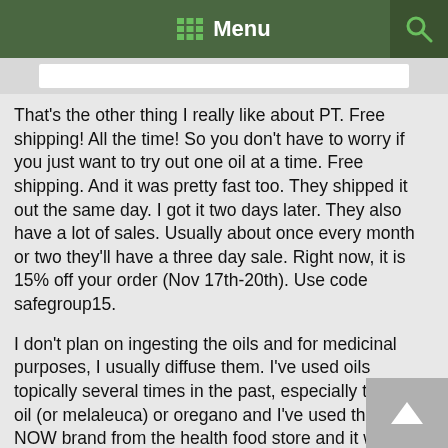Menu
That's the other thing I really like about PT. Free shipping! All the time! So you don't have to worry if you just want to try out one oil at a time. Free shipping. And it was pretty fast too. They shipped it out the same day. I got it two days later. They also have a lot of sales. Usually about once every month or two they'll have a three day sale. Right now, it is 15% off your order (Nov 17th-20th). Use code safegroup15.
I don't plan on ingesting the oils and for medicinal purposes, I usually diffuse them. I've used oils topically several times in the past, especially tea tree oil (or melaleuca) or oregano and I've used the cheap NOW brand from the health food store and it worked. PT's oils are about the same cost if not cheaper than the health food store and from what I've read are better quality and the customer service is outstanding.
I do plan to use some of the PT oils topically, especially when used in facial creams or lotions, or rubbing on the feet.